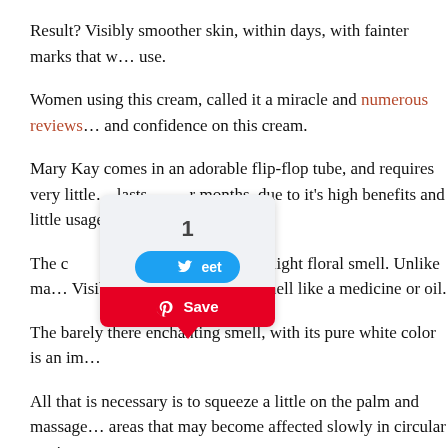Result? Visibly smoother skin, within days, with fainter marks that w… use.
Women using this cream, called it a miracle and numerous reviews … and confidence on this cream.
Mary Kay comes in an adorable flip-flop tube, and requires very little … lasts … months, due to it's high benefits and little usage re…
The c… te with a mild, soft and light floral smell. Unlike ma… Visib… y Kay does not smell like a medicine or oil.
The barely there enchanting smell, with its pure white color is an im…
All that is necessary is to squeeze a little on the palm and massage … areas that may become affected slowly in circular motion.
It is that easy. This cream is easily absorbed and unlike other anti-st… not leave an impression on clothes.
The of… this c… ing f…tt… the…